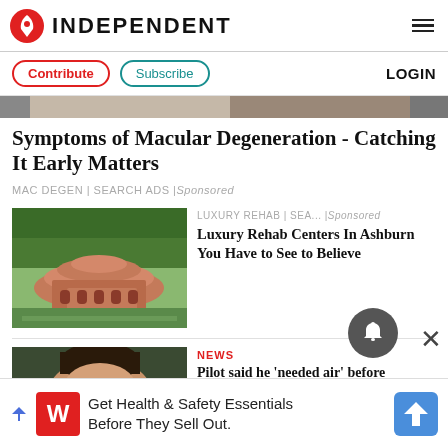INDEPENDENT
Contribute | Subscribe | LOGIN
[Figure (photo): Hero image strip showing partial content at top of page]
Symptoms of Macular Degeneration - Catching It Early Matters
MAC DEGEN | SEARCH ADS | Sponsored
[Figure (photo): Aerial view of a large circular pink/terracotta resort building surrounded by green trees and a waterfall]
LUXURY REHAB | SEA... | Sponsored
Luxury Rehab Centers In Ashburn You Have to See to Believe
[Figure (photo): Close-up photo of a person's forehead/face with dark background]
NEWS
Pilot said he 'needed air' before
Get Health & Safety Essentials Before They Sell Out.